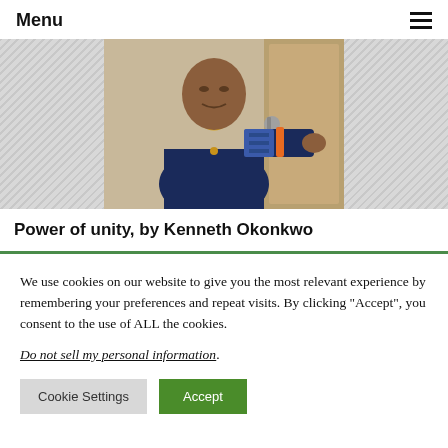Menu
[Figure (photo): A man wearing a dark blue traditional outfit with a gold chain necklace and an orange bracelet, pointing at something off-camera. Background shows a wooden door/panel interior.]
Power of unity, by Kenneth Okonkwo
We use cookies on our website to give you the most relevant experience by remembering your preferences and repeat visits. By clicking “Accept”, you consent to the use of ALL the cookies.
Do not sell my personal information.
Cookie Settings
Accept